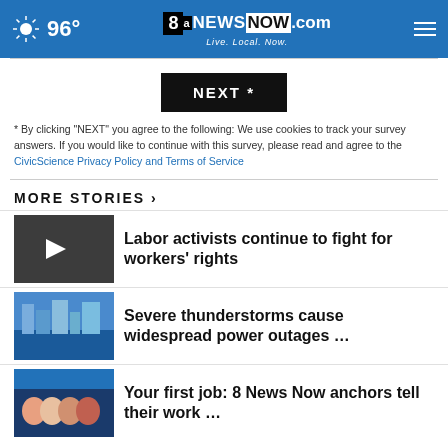96° | 8NewsNow.com Live. Local. Now.
NEXT *
* By clicking "NEXT" you agree to the following: We use cookies to track your survey answers. If you would like to continue with this survey, please read and agree to the CivicScience Privacy Policy and Terms of Service
MORE STORIES ›
Labor activists continue to fight for workers' rights
[Figure (photo): Dark thumbnail with play button icon for labor activists video]
Severe thunderstorms cause widespread power outages …
[Figure (photo): City waterfront scene thumbnail]
Your first job: 8 News Now anchors tell their work …
[Figure (photo): News anchors group photo thumbnail]